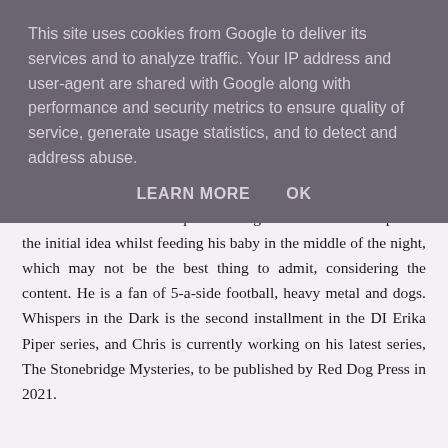This site uses cookies from Google to deliver its services and to analyze traffic. Your IP address and user-agent are shared with Google along with performance and security metrics to ensure quality of service, generate usage statistics, and to detect and address abuse.
LEARN MORE    OK
of Black is his first attempt at writing a book. He came up with the initial idea whilst feeding his baby in the middle of the night, which may not be the best thing to admit, considering the content. He is a fan of 5-a-side football, heavy metal and dogs. Whispers in the Dark is the second installment in the DI Erika Piper series, and Chris is currently working on his latest series, The Stonebridge Mysteries, to be published by Red Dog Press in 2021.